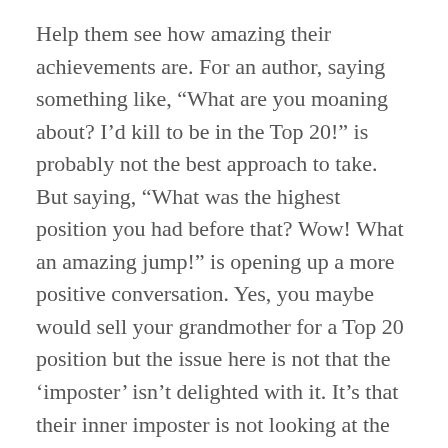Help them see how amazing their achievements are. For an author, saying something like, “What are you moaning about? I’d kill to be in the Top 20!” is probably not the best approach to take. But saying, “What was the highest position you had before that? Wow! What an amazing jump!” is opening up a more positive conversation. Yes, you maybe would sell your grandmother for a Top 20 position but the issue here is not that the ‘imposter’ isn’t delighted with it. It’s that their inner imposter is not looking at the positive and you can help them do that.
If they’re in the workplace, maybe challenge the long hours. What are they doing in those extra hours that they could do tomorrow instead? If their work genuinely can’t be done in ‘normal’ hours, there’s maybe another issue at hand and they actually have